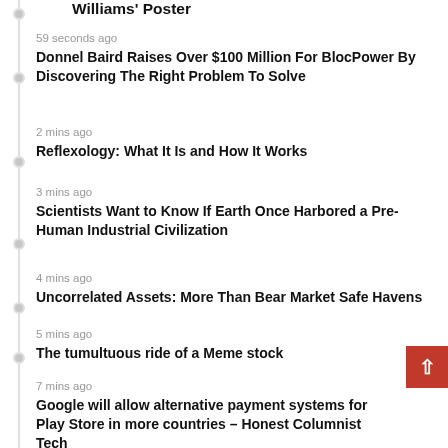Williams' Poster
59 seconds ago
Donnel Baird Raises Over $100 Million For BlocPower By Discovering The Right Problem To Solve
2 mins ago
Reflexology: What It Is and How It Works
3 mins ago
Scientists Want to Know If Earth Once Harbored a Pre-Human Industrial Civilization
4 mins ago
Uncorrelated Assets: More Than Bear Market Safe Havens
5 mins ago
The tumultuous ride of a Meme stock
7 mins ago
Google will allow alternative payment systems for Play Store in more countries – Honest Columnist Tech
8 mins ago
Duke volleyball player: BYU slow to act on slurs